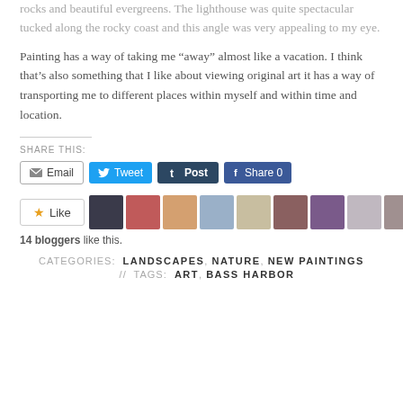rocks and beautiful evergreens.  The lighthouse was quite spectacular tucked along the rocky coast and this angle was very appealing to my eye.
Painting has a way of taking me “away” almost like a vacation.  I think that’s also something that I like about viewing original art it has a way of transporting me to different places within myself and within time and location.
SHARE THIS:
[Figure (other): Social sharing buttons: Email, Tweet, Post, Share 0]
[Figure (other): Like button and 9 avatar thumbnails of bloggers]
14 bloggers like this.
CATEGORIES: LANDSCAPES, NATURE, NEW PAINTINGS // TAGS: ART, BASS HARBOR